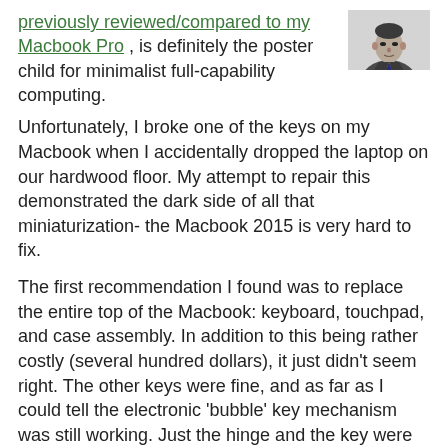previously reviewed/compared to my Macbook Pro , is definitely the poster child for minimalist full-capability computing.
[Figure (photo): Black and white photo of a man in a suit, upper body visible, against a light background.]
Unfortunately, I broke one of the keys on my Macbook when I accidentally dropped the laptop on our hardwood floor. My attempt to repair this demonstrated the dark side of all that miniaturization- the Macbook 2015 is very hard to fix.
The first recommendation I found was to replace the entire top of the Macbook: keyboard, touchpad, and case assembly. In addition to this being rather costly (several hundred dollars), it just didn't seem right. The other keys were fine, and as far as I could tell the electronic 'bubble' key mechanism was still working. Just the hinge and the key were broken.
In the end, I was proven right- it is possible to fix a single key without replacing the entire keyboard. Here is my experience of that process.